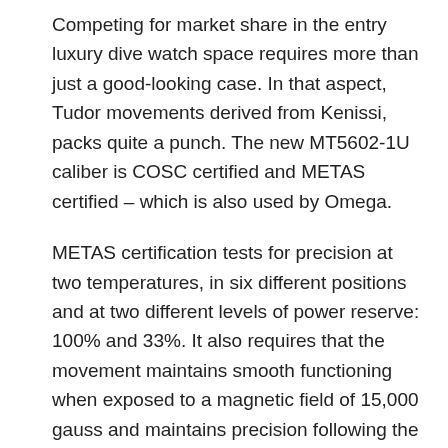Competing for market share in the entry luxury dive watch space requires more than just a good-looking case. In that aspect, Tudor movements derived from Kenissi, packs quite a punch. The new MT5602-1U caliber is COSC certified and METAS certified – which is also used by Omega.
METAS certification tests for precision at two temperatures, in six different positions and at two different levels of power reserve: 100% and 33%. It also requires that the movement maintains smooth functioning when exposed to a magnetic field of 15,000 gauss and maintains precision following the exposure. In essence, the watch is now highly accurate across different environments, anti-magnetic, with a 3 day power reserve and is self-